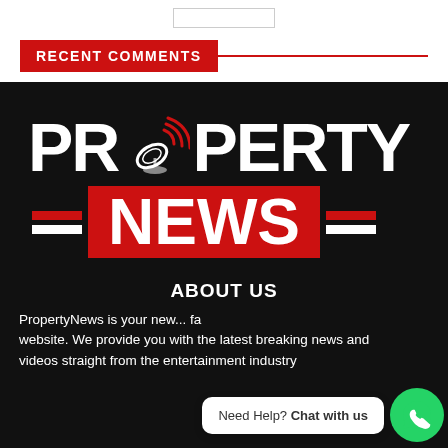RECENT COMMENTS
[Figure (logo): Property News logo with satellite dish replacing the 'O' in PROPERTY, white text on black background, NEWS in red banner, decorative dashes]
ABOUT US
PropertyNews is your new... fa... website. We provide you with the latest breaking news and videos straight from the entertainment industry